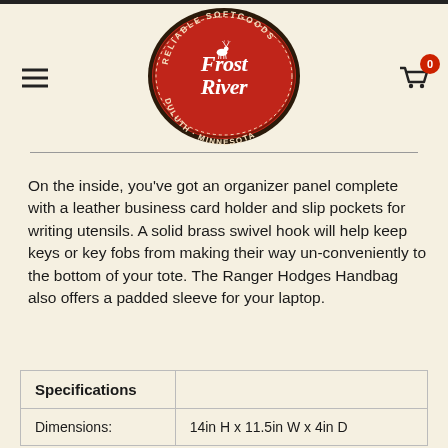[Figure (logo): Frost River Reliable Softgoods Duluth Minnesota red oval logo with elk/deer illustration]
On the inside, you've got an organizer panel complete with a leather business card holder and slip pockets for writing utensils. A solid brass swivel hook will help keep keys or key fobs from making their way un-conveniently to the bottom of your tote. The Ranger Hodges Handbag also offers a padded sleeve for your laptop.
| Specifications |  |
| --- | --- |
| Dimensions: | 14in H x 11.5in W x 4in D |